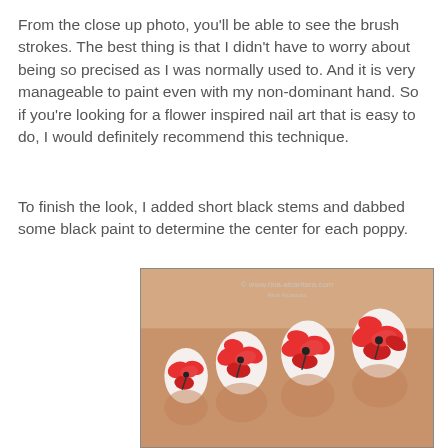From the close up photo, you'll be able to see the brush strokes. The best thing is that I didn't have to worry about being so precised as I was normally used to. And it is very manageable to paint even with my non-dominant hand. So if you're looking for a flower inspired nail art that is easy to do, I would definitely recommend this technique.
To finish the look, I added short black stems and dabbed some black paint to determine the center for each poppy.
[Figure (photo): Close-up photo of a hand with white nails painted with red poppy flowers and black stems/centers. Watermark reads: www.rina-alcantara.com]